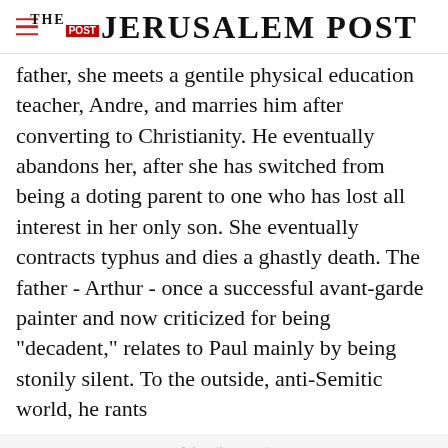THE JERUSALEM POST
father, she meets a gentile physical education teacher, Andre, and marries him after converting to Christianity. He eventually abandons her, after she has switched from being a doting parent to one who has lost all interest in her only son. She eventually contracts typhus and dies a ghastly death. The father - Arthur - once a successful avant-garde painter and now criticized for being "decadent," relates to Paul mainly by being stonily silent. To the outside, anti-Semitic world, he rants
Advertisement